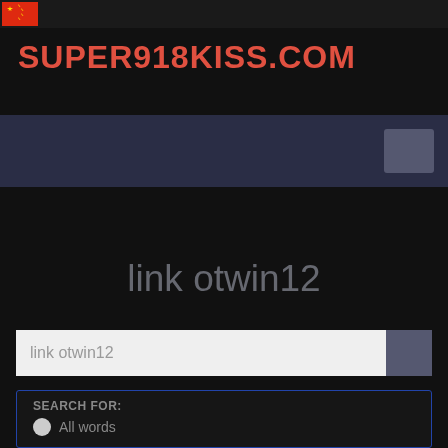SUPER918KISS.COM
link otwin12
link otwin12
SEARCH FOR:
All words